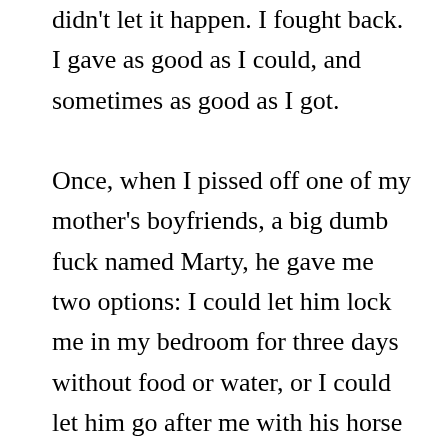didn't let it happen. I fought back. I gave as good as I could, and sometimes as good as I got.

Once, when I pissed off one of my mother's boyfriends, a big dumb fuck named Marty, he gave me two options: I could let him lock me in my bedroom for three days without food or water, or I could let him go after me with his horse whip. (He was a professional hunter's guide.) So I let him lock me in the bedroom… and then I kicked out the window and went to